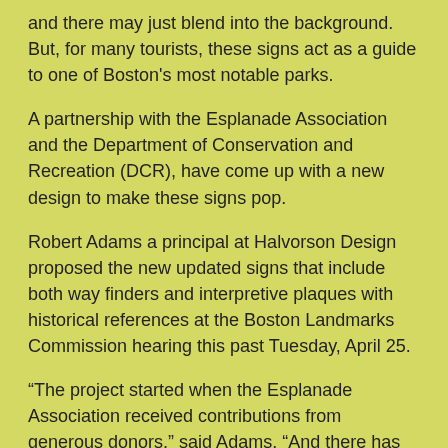and there may just blend into the background. But, for many tourists, these signs act as a guide to one of Boston's most notable parks.
A partnership with the Esplanade Association and the Department of Conservation and Recreation (DCR), have come up with a new design to make these signs pop.
Robert Adams a principal at Halvorson Design proposed the new updated signs that include both way finders and interpretive plaques with historical references at the Boston Landmarks Commission hearing this past Tuesday, April 25.
“The project started when the Esplanade Association received contributions from generous donors,” said Adams. “And there has been a need for new way finding signs there for quite some time.”
It includes replacing of seven existing kiosks and installation of two new entry signs in new locations. The project also includes replacement of eight existing interpretive panels that have historical context on them.